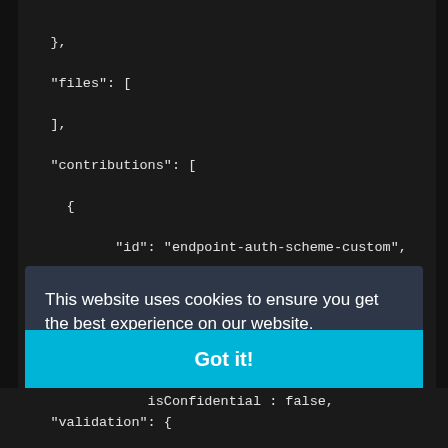},
    "files": [
    ],
    "contributions": [
      {
            "id": "endpoint-auth-scheme-custom",
            "description": "Jesse's custom scheme.
            "type": "ms.vss-endpoint.service-endpo
            "targets": [
                "ms.vss-endpoint.endpoint-auth-sch
            ],
            "properties": {
                "..." : "CustomAuthSche...
This website uses cookies to ensure you get the best experience on our website.
Learn more
Got it!
isConfidential : false,
    "validation": {